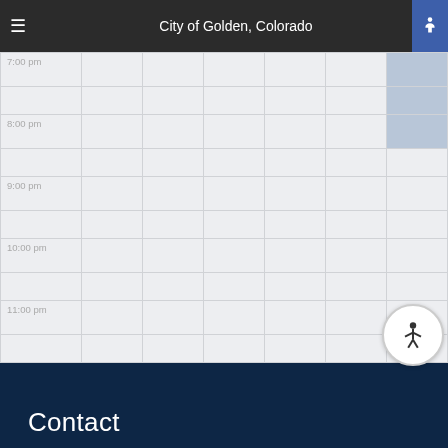City of Golden, Colorado
[Figure (screenshot): Weekly calendar grid showing time slots from 7:00 pm to 11:00 pm with a highlighted blue cell in the Saturday/last column area around 7:00-8:00 pm]
[Figure (infographic): Navigation bar with back arrow, calendar icon, and forward arrow buttons]
Contact